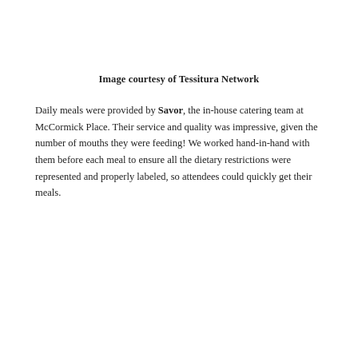Image courtesy of Tessitura Network
Daily meals were provided by Savor, the in-house catering team at McCormick Place. Their service and quality was impressive, given the number of mouths they were feeding! We worked hand-in-hand with them before each meal to ensure all the dietary restrictions were represented and properly labeled, so attendees could quickly get their meals.